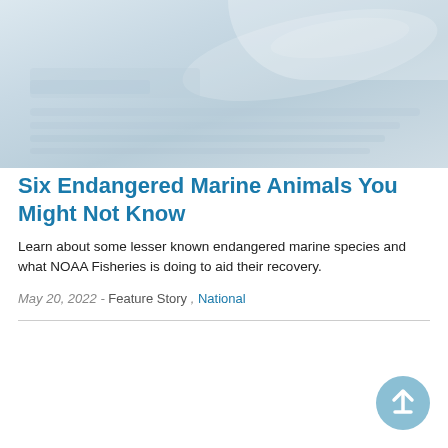[Figure (photo): Faded/light blue-grey ocean or marine animal background image, partially visible at top of page]
Six Endangered Marine Animals You Might Not Know
Learn about some lesser known endangered marine species and what NOAA Fisheries is doing to aid their recovery.
May 20, 2022 - Feature Story , National
[Figure (illustration): Circular back-to-top button with upward arrow, light blue, bottom-right corner]